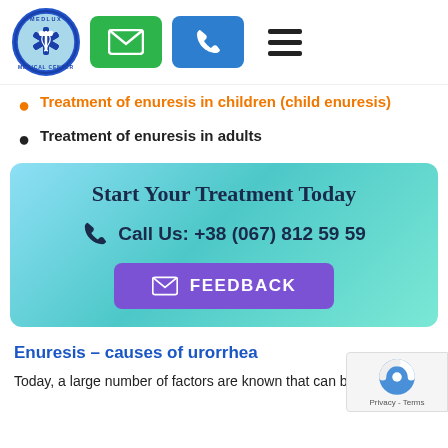[Figure (logo): Medlux Medical Center circular logo with caduceus symbol and navigation buttons (email, phone, hamburger menu)]
Treatment of enuresis in children (child enuresis)
Treatment of enuresis in adults
[Figure (infographic): Teal gradient CTA box with title 'Start Your Treatment Today', phone call text '+38 (067) 812 59 59', and a purple FEEDBACK button]
Enuresis – causes of urorrhea
Today, a large number of factors are known that can be... ...to that for the causes of in urethra, in children and adults...